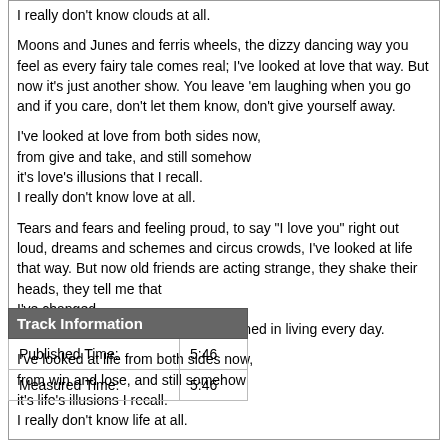I really don't know clouds at all.

Moons and Junes and ferris wheels, the dizzy dancing way you feel as every fairy tale comes real; I've looked at love that way. But now it's just another show. You leave 'em laughing when you go and if you care, don't let them know, don't give yourself away.

I've looked at love from both sides now,
from give and take, and still somehow
it's love's illusions that I recall.
I really don't know love at all.

Tears and fears and feeling proud, to say "I love you" right out loud, dreams and schemes and circus crowds, I've looked at life that way. But now old friends are acting strange, they shake their heads, they tell me that
I've changed.
Something's lost but something's gained in living every day.

I've looked at life from both sides now,
from win and lose, and still somehow
it's life's illusions I recall.
I really don't know life at all.
| Track Information |  |
| --- | --- |
| Published Time: | 5:46 |
| Measured Time: | 5:46 |